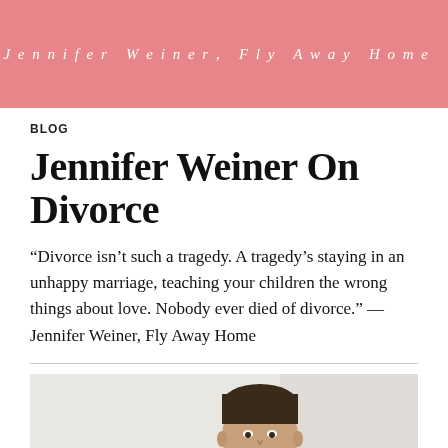Jennifer Weiner, Fly Away Home
BLOG
Jennifer Weiner On Divorce
“Divorce isn’t such a tragedy. A tragedy’s staying in an unhappy marriage, teaching your children the wrong things about love. Nobody ever died of divorce.” — Jennifer Weiner, Fly Away Home
[Figure (photo): Portrait photo of a person, head and shoulders visible against a light background]